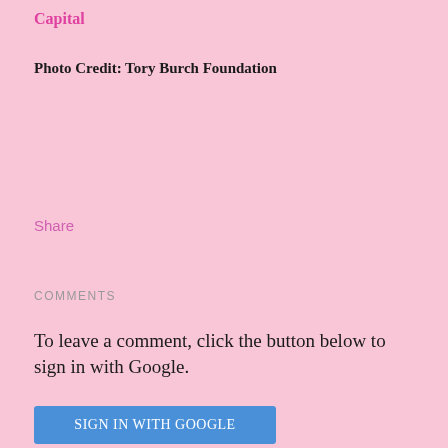Capital
Photo Credit: Tory Burch Foundation
Share
COMMENTS
To leave a comment, click the button below to sign in with Google.
[Figure (screenshot): Blue button labeled SIGN IN WITH GOOGLE]